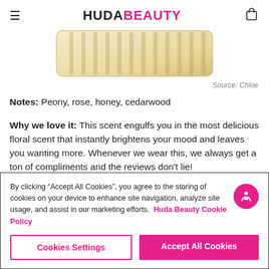HUDA BEAUTY
[Figure (photo): Fragrance bottle (Chloe perfume) shown from above, gold/champagne color with ribbed glass texture]
Source: Chloe
Notes: Peony, rose, honey, cedarwood
Why we love it: This scent engulfs you in the most delicious floral scent that instantly brightens your mood and leaves you wanting more. Whenever we wear this, we always get a ton of compliments and the reviews don't lie!
Ideal first date: A spontaneous trip on the Eurostar for a picnic
By clicking “Accept All Cookies”, you agree to the storing of cookies on your device to enhance site navigation, analyze site usage, and assist in our marketing efforts. Huda Beauty Cookie Policy